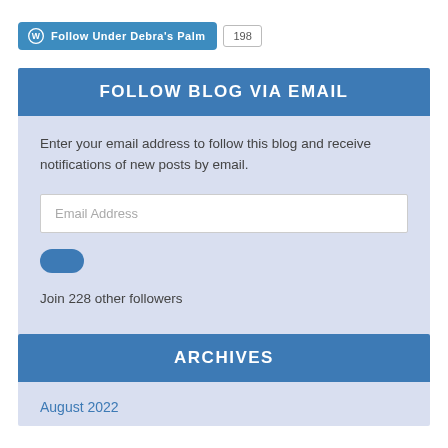[Figure (other): WordPress Follow button showing 'Follow Under Debra’s Palm' with count badge showing 198]
FOLLOW BLOG VIA EMAIL
Enter your email address to follow this blog and receive notifications of new posts by email.
[Figure (other): Email Address input field (placeholder text)]
[Figure (other): Blue oval follow/submit button]
Join 228 other followers
ARCHIVES
August 2022